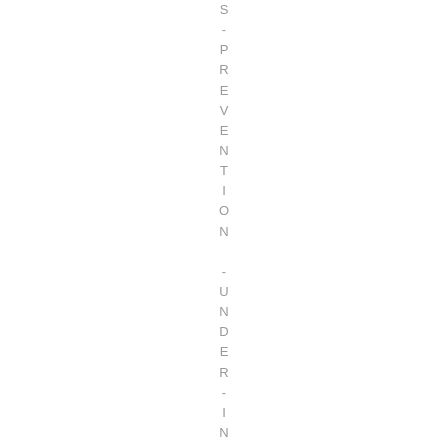S-PREVENTION -UNDERINSURED -UNEM